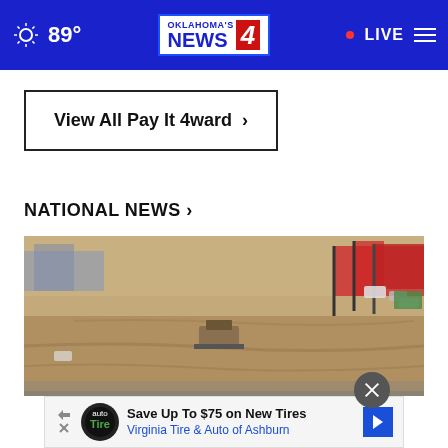89° Oklahoma's News 4 • LIVE
View All Pay It 4ward ›
NATIONAL NEWS ›
[Figure (photo): Aerial view of a large dirt construction site with heavy machinery, vehicles parked in the background, and buildings along the right edge.]
Save Up To $75 on New Tires Virginia Tire & Auto of Ashburn